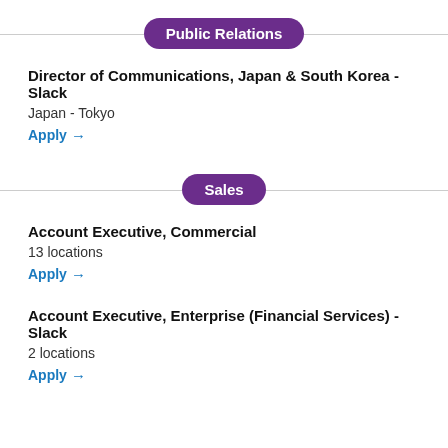Public Relations
Director of Communications, Japan & South Korea - Slack
Japan - Tokyo
Apply →
Sales
Account Executive, Commercial
13 locations
Apply →
Account Executive, Enterprise (Financial Services) - Slack
2 locations
Apply →